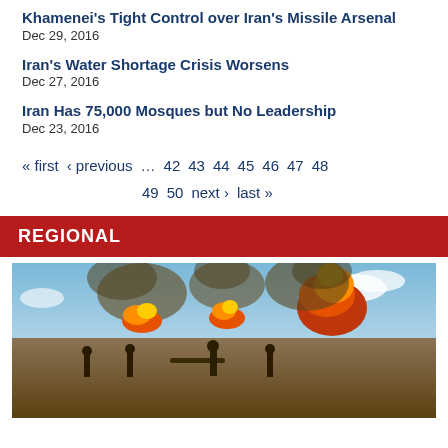Khamenei's Tight Control over Iran's Missile Arsenal
Dec 29, 2016
Iran's Water Shortage Crisis Worsens
Dec 27, 2016
Iran Has 75,000 Mosques but No Leadership
Dec 23, 2016
« first  ‹ previous  …  42  43  44  45  46  47  48  49  50  next ›  last »
REGIONAL
[Figure (photo): Military artillery firing scene with large explosions and fire in a desert/field setting, soldiers operating artillery guns]